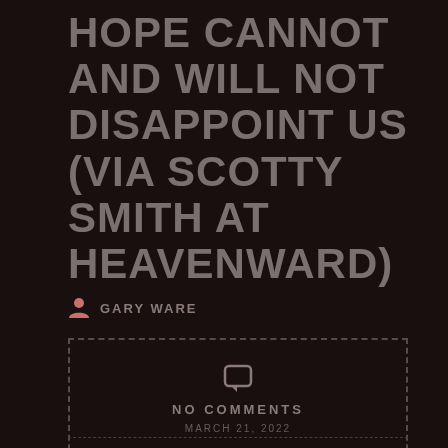HOPE CANNOT AND WILL NOT DISAPPOINT US (VIA SCOTTY SMITH AT HEAVENWARD)
GARY WARE
NO COMMENTS
MARCH 21, 2022